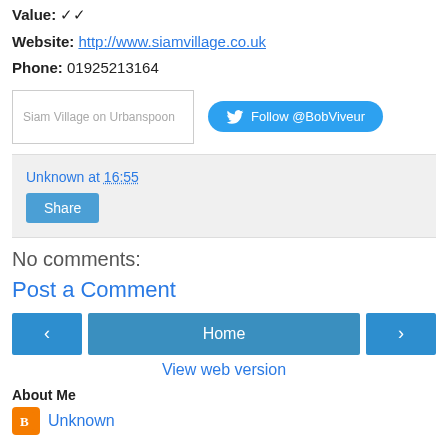Value: ✓✓
Website: http://www.siamvillage.co.uk
Phone: 01925213164
[Figure (screenshot): Siam Village on Urbanspoon badge and Follow @BobViveur Twitter button]
Unknown at 16:55
Share
No comments:
Post a Comment
Home
View web version
About Me
Unknown